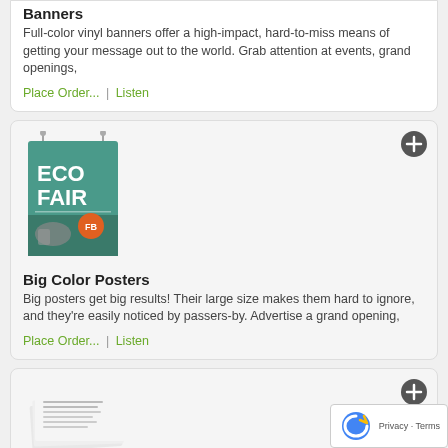Banners
Full-color vinyl banners offer a high-impact, hard-to-miss means of getting your message out to the world. Grab attention at events, grand openings,
Place Order... | Listen
[Figure (photo): Eco Fair poster image with teal and green design]
Big Color Posters
Big posters get big results! Their large size makes them hard to ignore, and they're easily noticed by passers-by. Advertise a grand opening,
Place Order... | Listen
[Figure (photo): Stack of black and white printed papers]
Black & White Copies
Paper jams, toner issues, misfed sheets, quality concerns, and co... repairs. If you're tired of wrestling with your office copier, bring you...
Place Order... | Listen